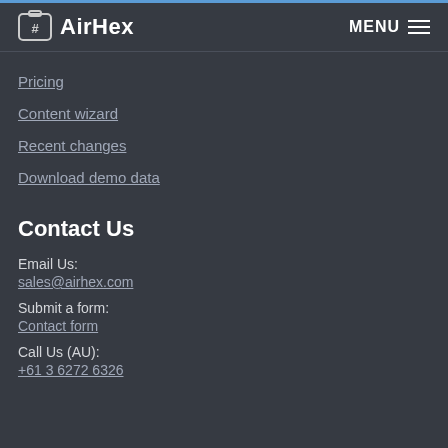AirHex | MENU
Pricing
Content wizard
Recent changes
Download demo data
Contact Us
Email Us:
sales@airhex.com
Submit a form:
Contact form
Call Us (AU):
+61 3 6272 6326